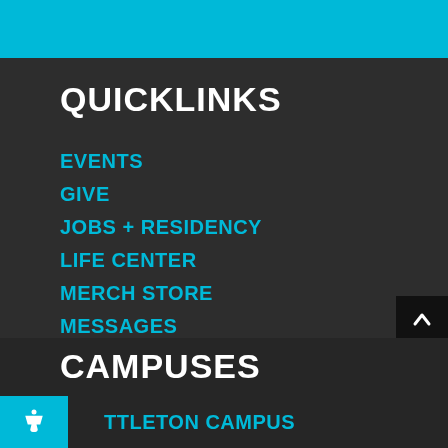QUICKLINKS
EVENTS
GIVE
JOBS + RESIDENCY
LIFE CENTER
MERCH STORE
MESSAGES
MISSION HILLS ASSOCIATION
STAFF
WATCH LIVE
CAMPUSES
LITTLETON CAMPUS